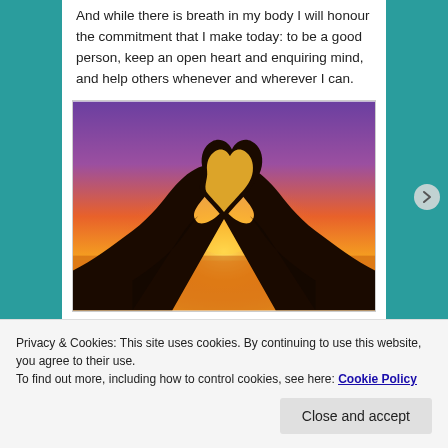And while there is breath in my body I will honour the commitment that I make today: to be a good person, keep an open heart and enquiring mind, and help others whenever and wherever I can.
[Figure (photo): Two hands forming a heart shape silhouetted against a colorful sunset sky with orange, purple, and pink hues]
Privacy & Cookies: This site uses cookies. By continuing to use this website, you agree to their use.
To find out more, including how to control cookies, see here: Cookie Policy